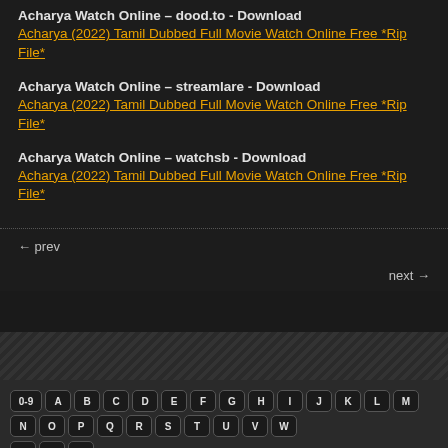Acharya Watch Online – dood.to - Download
Acharya (2022) Tamil Dubbed Full Movie Watch Online Free *Rip File*
Acharya Watch Online – streamlare - Download
Acharya (2022) Tamil Dubbed Full Movie Watch Online Free *Rip File*
Acharya Watch Online – watchsb - Download
Acharya (2022) Tamil Dubbed Full Movie Watch Online Free *Rip File*
← prev
next →
[Figure (screenshot): Alphabetical keyboard navigation widget with keys: 0-9, A-Z arranged in two rows]